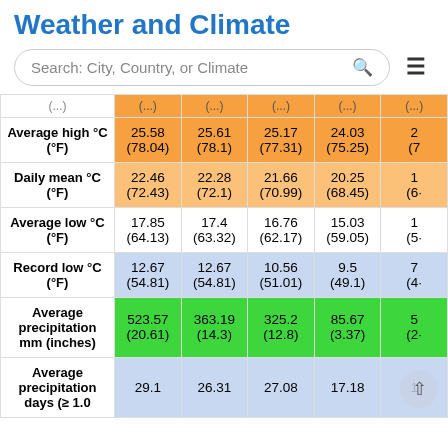Weather and Climate
Search: City, Country, or Climate
|  | Col1 | Col2 | Col3 | Col4 | Col5(partial) |
| --- | --- | --- | --- | --- | --- |
| Average high °C (°F) | 25.58 (78.04) | 25.61 (78.1) | 25.17 (77.31) | 24.03 (75.25) | 2 (7... |
| Daily mean °C (°F) | 22.46 (72.43) | 22.28 (72.1) | 21.66 (70.99) | 20.25 (68.45) | 1 (6... |
| Average low °C (°F) | 17.85 (64.13) | 17.4 (63.32) | 16.76 (62.17) | 15.03 (59.05) | 1 (5... |
| Record low °C (°F) | 12.67 (54.81) | 12.67 (54.81) | 10.56 (51.01) | 9.5 (49.1) | 7 (4... |
| Average precipitation mm (inches) | 523.57 (20.61) | 363.19 (14.3) | 325.2 (12.8) | 85.67 (3.37) | 5 (2... |
| Average precipitation days (≥ 1.0 | 29.1 | 26.31 | 27.08 | 17.18 | 1... |